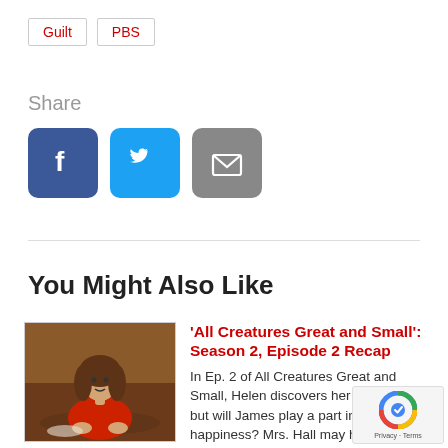Guilt
PBS
Share
[Figure (infographic): Social sharing buttons: Facebook (blue), Twitter (cyan), Email (gray)]
You Might Also Like
[Figure (photo): Thumbnail photo of a young woman with curly hair wearing a red dress, seated at a table]
'All Creatures Great and Small': Season 2, Episode 2 Recap
In Ep. 2 of All Creatures Great and Small, Helen discovers her joy again but will James play a part in her happiness? Mrs. Hall may have an admirer